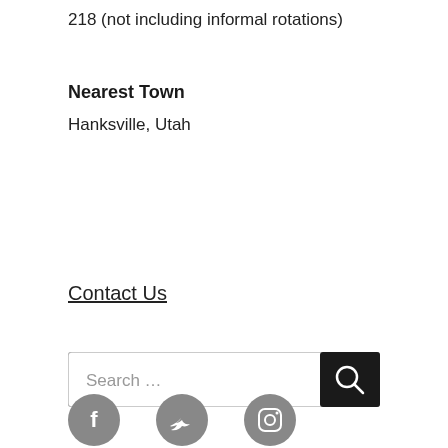218 (not including informal rotations)
Nearest Town
Hanksville, Utah
Contact Us
[Figure (screenshot): Search bar with text 'Search ...' and a dark search button with magnifying glass icon]
[Figure (infographic): Three social media icon circles: Facebook (f), Twitter (bird), Instagram (camera)]